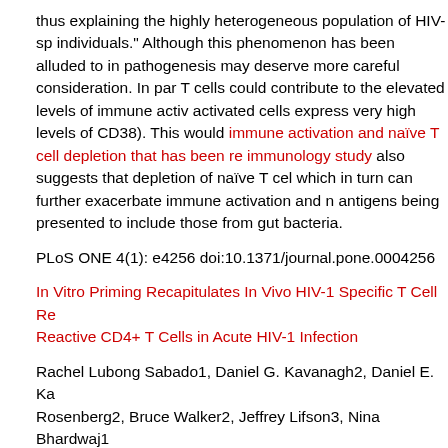thus explaining the highly heterogeneous population of HIV-sp individuals." Although this phenomenon has been alluded to in pathogenesis may deserve more careful consideration. In par T cells could contribute to the elevated levels of immune activ activated cells express very high levels of CD38). This would immune activation and naïve T cell depletion that has been re immunology study also suggests that depletion of naïve T cel which in turn can further exacerbate immune activation and n antigens being presented to include those from gut bacteria.
PLoS ONE 4(1): e4256 doi:10.1371/journal.pone.0004256
In Vitro Priming Recapitulates In Vivo HIV-1 Specific T Cell Re Reactive CD4+ T Cells in Acute HIV-1 Infection
Rachel Lubong Sabado1, Daniel G. Kavanagh2, Daniel E. Ka Rosenberg2, Bruce Walker2, Jeffrey Lifson3, Nina Bhardwaj1
1 New York University School of Medicine, New York, New Yo Research Center (PARC), Massachusetts General Hospital, H Massachusetts, United States of America, 3 SAIC Fredrick, In